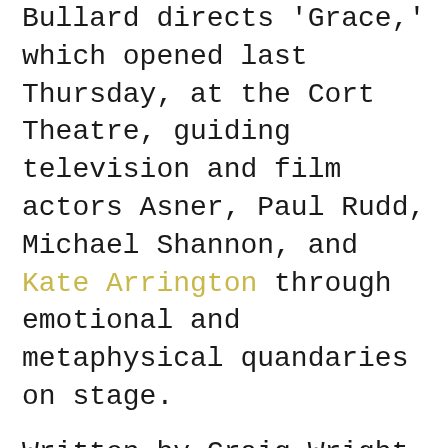Bullard directs 'Grace,' which opened last Thursday, at the Cort Theatre, guiding television and film actors Asner, Paul Rudd, Michael Shannon, and Kate Arrington through emotional and metaphysical quandaries on stage.
Written by Craig Wright (television's Six Feet Under), the play is a dark comedy about a young fundamentalist Christian couple (Rudd and Arrington) who begin to question their faith after being confronted by a failing business and an agnostic next-door neighbor (Shannon). This is Bullard's second